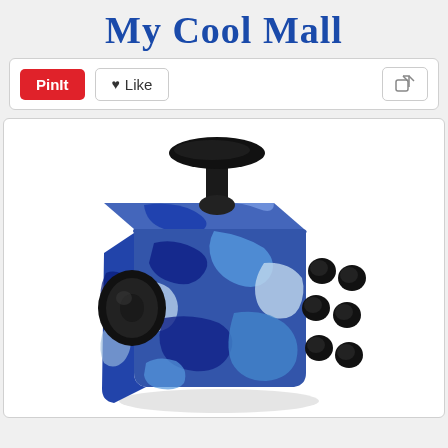My Cool Mall
[Figure (screenshot): Pinterest-style toolbar with PinIt button, Like button, and Share button]
[Figure (photo): Blue camouflage pattern fidget cube toy with black joystick on top, black circular dial on left side, and multiple black buttons on right side]